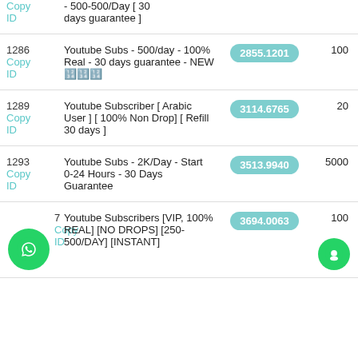| ID | Name | Price | Min |
| --- | --- | --- | --- |
|  | - 500-500/Day [ 30 days guarantee ] |  |  |
| 1286
Copy ID | Youtube Subs - 500/day - 100% Real - 30 days guarantee - NEW 🔢🔢🔢 | 2855.1201 | 100 |
| 1289
Copy ID | Youtube Subscriber [ Arabic User ] [ 100% Non Drop] [ Refill 30 days ] | 3114.6765 | 20 |
| 1293
Copy ID | Youtube Subs - 2K/Day - Start 0-24 Hours - 30 Days Guarantee | 3513.9940 | 5000 |
| 7
Copy ID | Youtube Subscribers [VIP, 100% REAL] [NO DROPS] [250-500/DAY] [INSTANT] | 3694.0063 | 100 |